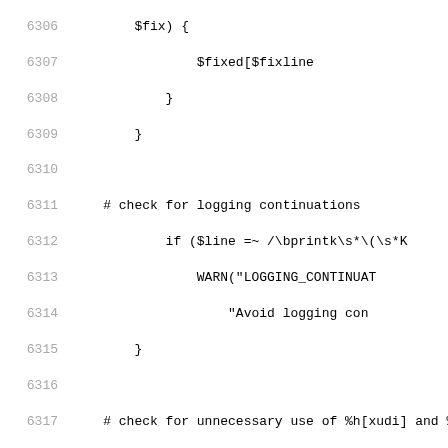[Figure (screenshot): Source code listing with line numbers 6306-6327, showing Perl code for checking logging continuations and unnecessary use of format specifiers.]